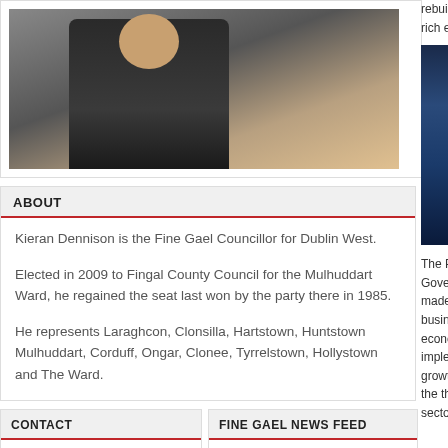[Figure (photo): Photo of a man in a suit wearing a gold chain of office, holding papers, with hand gesturing outward]
ABOUT
Kieran Dennison is the Fine Gael Councillor for Dublin West.
Elected in 2009 to Fingal County Council for the Mulhuddart Ward, he regained the seat last won by the party there in 1985.
He represents Laraghcon, Clonsilla, Hartstown, Huntstown Mulhuddart, Corduff, Ongar, Clonee, Tyrrelstown, Hollystown and The Ward.
CONTACT
Claire
Cllr. Kieran Dennison
FINE GAEL NEWS FEED
Error loading feed.
rebuild the e rich economy
[Figure (photo): Night-time cityscape or industrial scene with blue lighting]
The Plan, w Government made in 2 businesses a economy. T implemented growth of al the three ye sector.